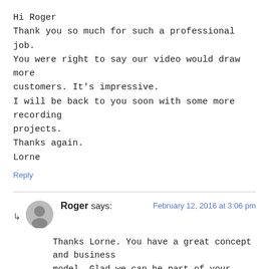Hi Roger
Thank you so much for such a professional job.
You were right to say our video would draw more customers. It's impressive.
I will be back to you soon with some more recording projects.
Thanks again.
Lorne
Reply
Roger says:
February 12, 2016 at 3:06 pm
Thanks Lorne. You have a great concept and business model. Glad we can be part of your success.
Roger